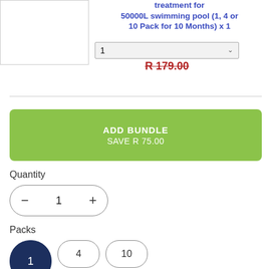[Figure (photo): Product image placeholder box, white with gray border]
treatment for 50000L swimming pool (1, 4 or 10 Pack for 10 Months) x 1
1 (dropdown selector)
R 179.00 (strikethrough price)
ADD BUNDLE
SAVE R 75.00
Quantity
− 1 +
Packs
1  4  10